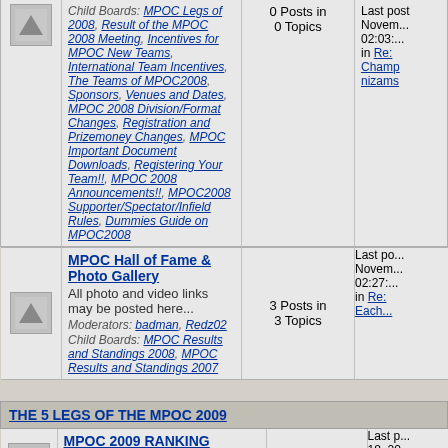|  | Forum | Stats | Last Post |
| --- | --- | --- | --- |
| [icon] | MPOC Hall of Fame & Photo Gallery
All photo and video links may be posted here...
Moderators: badman, Redz02
Child Boards: MPOC Results and Standings 2008, MPOC Results and Standings 2007 | 3 Posts in
3 Topics | Last po...
Novem...
02:27:...
in Re:
Each... |
THE 5 LEGS OF THE MPOC 2009
|  | Forum | Stats | Last Post |
| --- | --- | --- | --- |
| [icon] | MPOC 2009 RANKING
Updated after each leg. | 10 Posts in
1 Topics | Last p...
18, 20...
AM
in corre...
team ... |
| [icon] | 1ST LEG XTION PAINTBALL PARK | 127 Posts in
9 Topics | Last p...
23, 20...
PM
in Re:
by sub... |
| [icon] | LABUAN OPEN - BONUS INT. EVENT
For the 1st time..we shall have a major event in East Malaysia.A must attend event for all regional teams.. | 239 Posts in
20 Topics | Last p...
01:33:...
in Re:
Labua... |